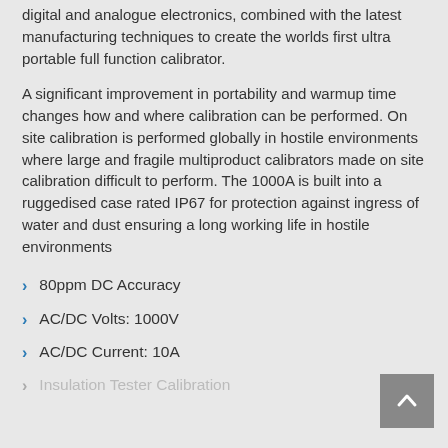digital and analogue electronics, combined with the latest manufacturing techniques to create the worlds first ultra portable full function calibrator.
A significant improvement in portability and warmup time changes how and where calibration can be performed. On site calibration is performed globally in hostile environments where large and fragile multiproduct calibrators made on site calibration difficult to perform. The 1000A is built into a ruggedised case rated IP67 for protection against ingress of water and dust ensuring a long working life in hostile environments
80ppm DC Accuracy
AC/DC Volts: 1000V
AC/DC Current: 10A
Insulation Tester Calibration